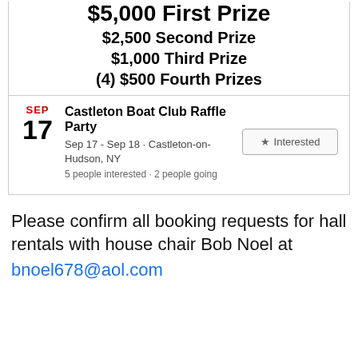$5,000 First Prize
$2,500 Second Prize
$1,000 Third Prize
(4) $500 Fourth Prizes
SEP
17
Castleton Boat Club Raffle Party
Sep 17 - Sep 18 · Castleton-on-Hudson, NY
5 people interested · 2 people going
Please confirm all booking requests for hall rentals with house chair Bob Noel at
bnoel678@aol.com